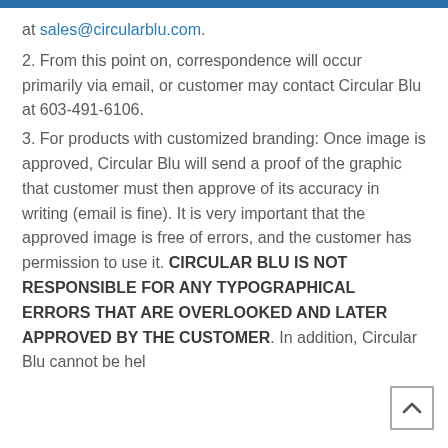at sales@circularblu.com.
2. From this point on, correspondence will occur primarily via email, or customer may contact Circular Blu at 603-491-6106.
3. For products with customized branding: Once image is approved, Circular Blu will send a proof of the graphic that customer must then approve of its accuracy in writing (email is fine). It is very important that the approved image is free of errors, and the customer has permission to use it. CIRCULAR BLU IS NOT RESPONSIBLE FOR ANY TYPOGRAPHICAL ERRORS THAT ARE OVERLOOKED AND LATER APPROVED BY THE CUSTOMER. In addition, Circular Blu cannot be held responsible for any content that a customer approves and